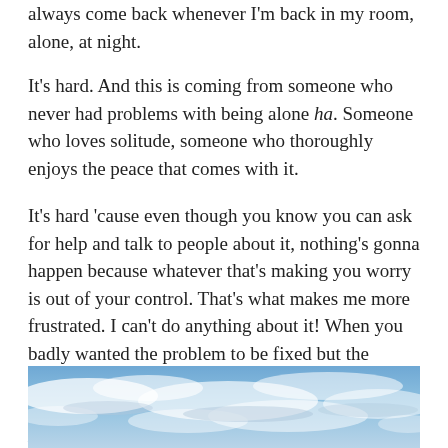always come back whenever I'm back in my room, alone, at night.
It's hard. And this is coming from someone who never had problems with being alone ha. Someone who loves solitude, someone who thoroughly enjoys the peace that comes with it.
It's hard 'cause even though you know you can ask for help and talk to people about it, nothing's gonna happen because whatever that's making you worry is out of your control. That's what makes me more frustrated. I can't do anything about it! When you badly wanted the problem to be fixed but the solution isn't going to come from your side. You don't have anything else to do but wait. Napakahirap.
[Figure (photo): A sky photograph showing blue sky with wispy white clouds, partially visible at the bottom of the page.]